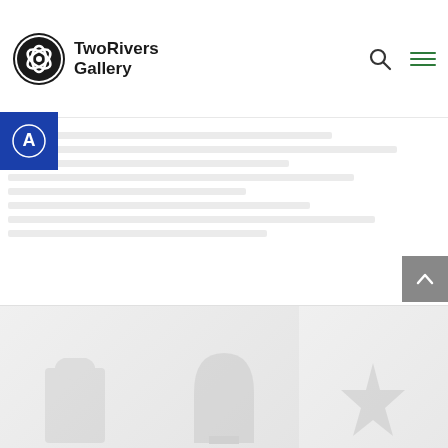TwoRivers Gallery
[Figure (logo): TwoRivers Gallery logo: circular black icon with intersecting lines/ribbons on left, bold text 'TwoRivers Gallery' on right]
[Figure (screenshot): Website screenshot of TwoRivers Gallery page showing navigation header with search and hamburger menu icons, a blue circular badge/button on left, faded page content area, a scroll-to-top button (grey arrow up) on right, and bottom thumbnail strip with ghosted artwork images including a bell/arch shape and a star/snowflake shape]